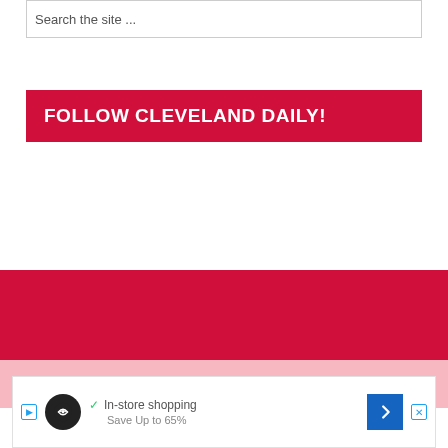Search the site ...
FOLLOW CLEVELAND DAILY!
[Figure (other): Red footer bar area]
Privacy
[Figure (infographic): Advertisement banner with shopping icon, checkmark 'In-store shopping', 'Save Up to 65%' text, play and X buttons, and blue arrow navigation button]